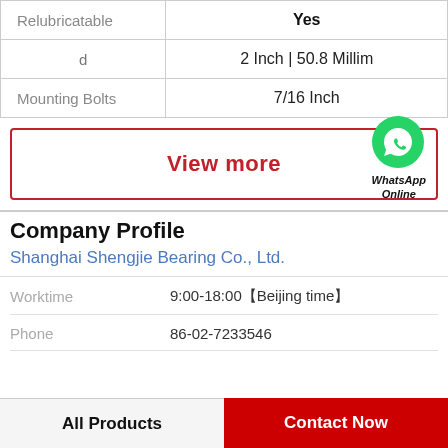|  |  |
| --- | --- |
| Relubricatable | Yes |
| d | 2 Inch | 50.8 Millim |
| Mounting Bolts | 7/16 Inch |
View more
[Figure (logo): WhatsApp green circle icon with phone handset, labeled 'WhatsApp Online']
Company Profile
Shanghai Shengjie Bearing Co., Ltd.
Worktime   9:00-18:00【Beijing time】
Phone   86-02-7233546
All Products   Contact Now